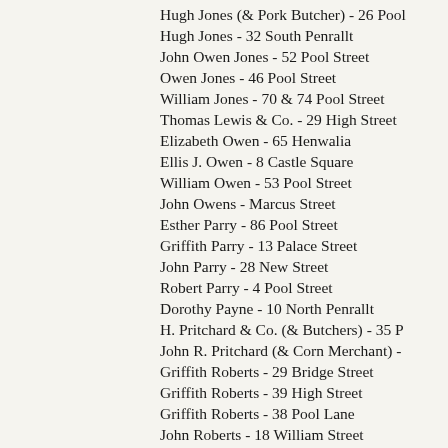Hugh Jones (& Pork Butcher) - 26 Pool Street
Hugh Jones - 32 South Penrallt
John Owen Jones - 52 Pool Street
Owen Jones - 46 Pool Street
William Jones - 70 & 74 Pool Street
Thomas Lewis & Co. - 29 High Street
Elizabeth Owen - 65 Henwalia
Ellis J. Owen - 8 Castle Square
William Owen - 53 Pool Street
John Owens - Marcus Street
Esther Parry - 86 Pool Street
Griffith Parry - 13 Palace Street
John Parry - 28 New Street
Robert Parry - 4 Pool Street
Dorothy Payne - 10 North Penrallt
H. Pritchard & Co. (& Butchers) - 35 P
John R. Pritchard (& Corn Merchant) -
Griffith Roberts - 29 Bridge Street
Griffith Roberts - 39 High Street
Griffith Roberts - 38 Pool Lane
John Roberts - 18 William Street
Joseph Roberts - 44 Pool Lane